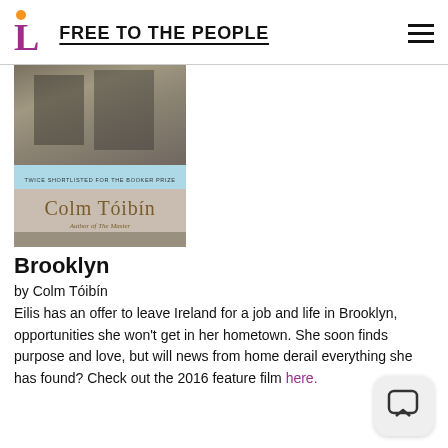FREE TO THE PEOPLE
[Figure (photo): Book cover of Brooklyn by Colm Tóibín. Shows a photograph of what appears to be an outdoor scene with walls/panels. A blue band reads 'TWICE SHORTLISTED FOR THE BOOKER PRIZE'. Below shows the author name 'COLM TÓIBÍN' in large serif type and 'Author of The Master' in smaller italic text.]
Brooklyn
by Colm Tóibín
Eilis has an offer to leave Ireland for a job and life in Brooklyn, opportunities she won't get in her hometown. She soon finds purpose and love, but will news from home derail everything she has found? Check out the 2016 feature film here.